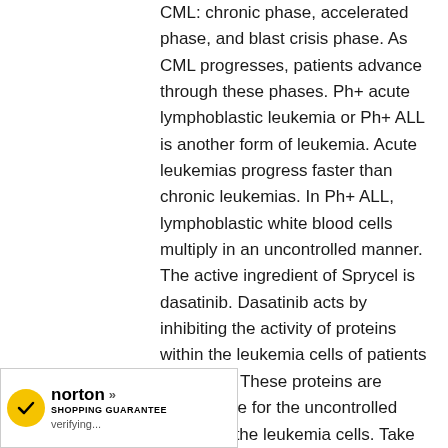CML: chronic phase, accelerated phase, and blast crisis phase. As CML progresses, patients advance through these phases. Ph+ acute lymphoblastic leukemia or Ph+ ALL is another form of leukemia. Acute leukemias progress faster than chronic leukemias. In Ph+ ALL, lymphoblastic white blood cells multiply in an uncontrolled manner. The active ingredient of Sprycel is dasatinib. Dasatinib acts by inhibiting the activity of proteins within the leukemia cells of patients with CML. These proteins are responsible for the uncontrolled growth of the leukemia cells. Take the medication exactly as prescribed by your doctor. The usual dose for chronic phase CML is 100 mg once a day either in the morning or in evening. The tablets should be swallowed whole, not crushed. They can be taken with or without food. Try to take Sprycel at the same time each day.
[Figure (logo): Norton Shopping Guarantee badge with yellow checkmark, 'norton' text in bold, and 'SHOPPING GUARANTEE' subtitle, with 'verifying...' text below]